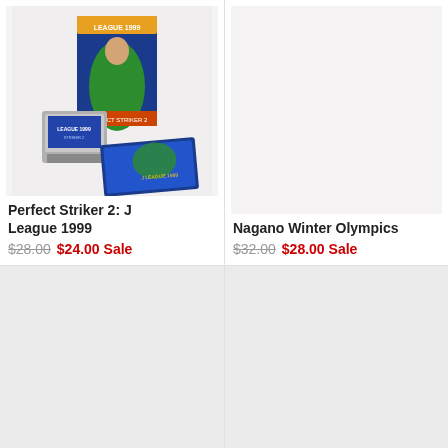[Figure (photo): Photo of Perfect Striker 2: J League 1999 Nintendo 64 game — showing the box, cartridge, and manual spread out]
Perfect Striker 2: J League 1999
$28.00  $24.00 Sale
[Figure (photo): Empty/placeholder area for Nagano Winter Olympics product image]
Nagano Winter Olympics
$32.00  $28.00 Sale